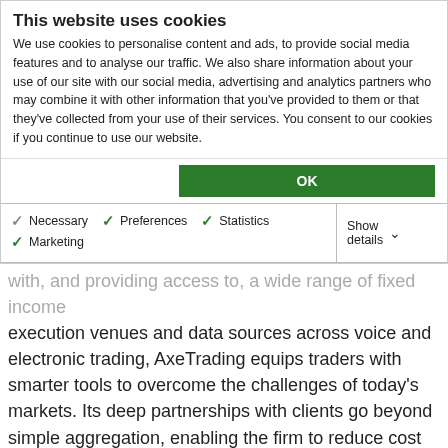This website uses cookies
We use cookies to personalise content and ads, to provide social media features and to analyse our traffic. We also share information about your use of our site with our social media, advertising and analytics partners who may combine it with other information that you've provided to them or that they've collected from your use of their services. You consent to our cookies if you continue to use our website.
OK
Necessary   Preferences   Statistics   Marketing   Show details
with, and providing access to, a wide range of fixed income execution venues and data sources across voice and electronic trading, AxeTrading equips traders with smarter tools to overcome the challenges of today's markets. Its deep partnerships with clients go beyond simple aggregation, enabling the firm to reduce cost and operational risks across the trading floor, while facilitating regulatory compliance. AxeTrading was founded in 2009, and now has clients in more than 18 countries across 4 continents. For more information, visit www.axetrading.com